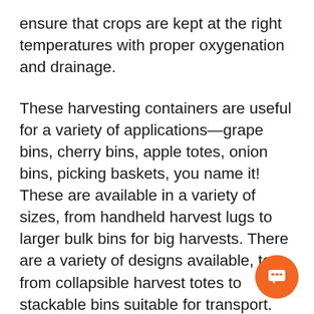ensure that crops are kept at the right temperatures with proper oxygenation and drainage.
These harvesting containers are useful for a variety of applications—grape bins, cherry bins, apple totes, onion bins, picking baskets, you name it! These are available in a variety of sizes, from handheld harvest lugs to larger bulk bins for big harvests. There are a variety of designs available, too, from collapsible harvest totes to stackable bins suitable for transport. There are thousands of types of produce harvesting containers available—and Growers' Goods will source any product requested our customers, be it harvest lugs, totes,